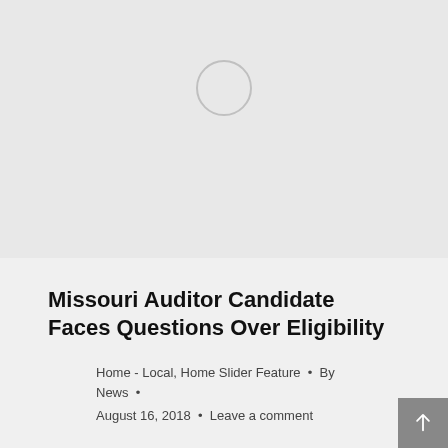[Figure (photo): Image loading placeholder with a spinner circle on a light gray background]
Missouri Auditor Candidate Faces Questions Over Eligibility
Home - Local, Home Slider Feature • By News • August 16, 2018 • Leave a comment
JEFFERSON CITY, MO (AP) — A Missouri